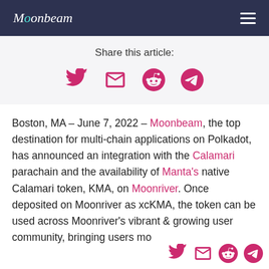Moonbeam
Share this article:
[Figure (other): Social share icons: Twitter, Email, Reddit, Telegram]
Boston, MA – June 7, 2022 – Moonbeam, the top destination for multi-chain applications on Polkadot, has announced an integration with the Calamari parachain and the availability of Manta's native Calamari token, KMA, on Moonriver. Once deposited on Moonriver as xcKMA, the token can be used across Moonriver's vibrant & growing user community, bringing users more ways to interact with Calamari across the Kusama